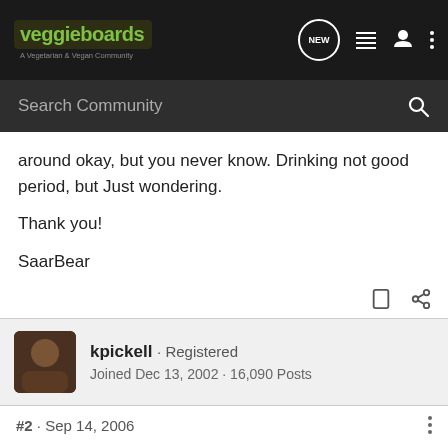veggieboards - A Vegetarian & Vegan Community
around okay, but you never know. Drinking not good period, but Just wondering.

Thank you!

SaarBear
kpickell · Registered
Joined Dec 13, 2002 · 16,090 Posts
#2 · Sep 14, 2006
I hope so